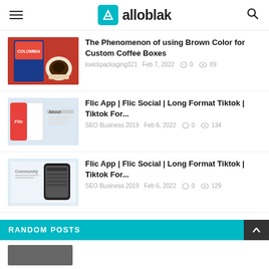alloblak
The Phenomenon of using Brown Color for Custom Coffee Boxes
kwickpackaging321  Feb 7, 2022  0  89
Flic App | Flic Social | Long Format Tiktok | Tiktok For...
SEO Business 2019  Feb 6, 2022  0  134
Flic App | Flic Social | Long Format Tiktok | Tiktok For...
SEO Business 2019  Feb 6, 2022  0  129
RANDOM POSTS